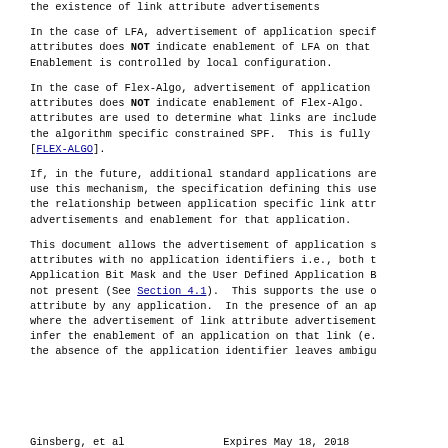the existence of link attribute advertisements
In the case of LFA, advertisement of application specific attributes does NOT indicate enablement of LFA on that. Enablement is controlled by local configuration.
In the case of Flex-Algo, advertisement of application attributes does NOT indicate enablement of Flex-Algo. attributes are used to determine what links are included the algorithm specific constrained SPF. This is fully [FLEX-ALGO].
If, in the future, additional standard applications are use this mechanism, the specification defining this use the relationship between application specific link attr advertisements and enablement for that application.
This document allows the advertisement of application s attributes with no application identifiers i.e., both t Application Bit Mask and the User Defined Application B not present (See Section 4.1). This supports the use o attribute by any application. In the presence of an ap where the advertisement of link attribute advertisement infer the enablement of an application on that link (e. the absence of the application identifier leaves ambigu
Ginsberg, et al            Expires May 18, 2018